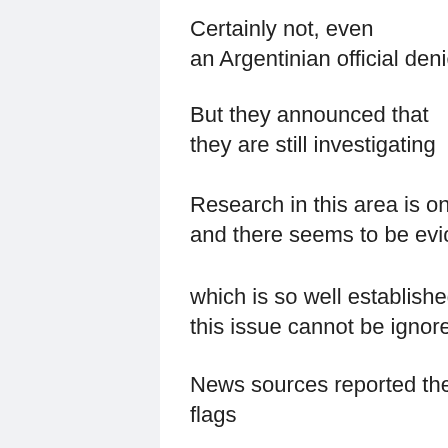Certainly not, even an Argentinian official denied it
But they announced that they are still investigating
Research in this area is ongoing and there seems to be evidence
which is so well established that this issue cannot be ignored
News sources reported these red flags
And it seems base on Iran's recent activities in Venezuela
And new business ventures